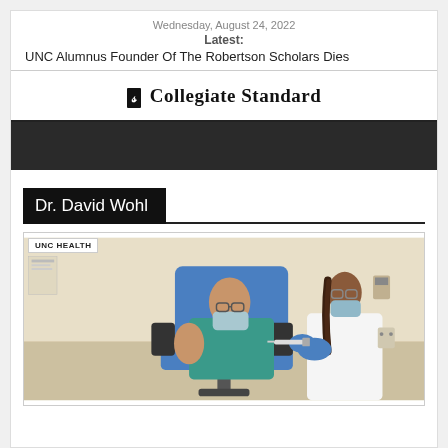Wednesday, August 24, 2022
Latest:
UNC Alumnus Founder Of The Robertson Scholars Dies
CS Collegiate Standard
[Figure (other): Dark banner/navigation bar]
Dr. David Wohl
[Figure (photo): A bald man in scrubs and a face mask seated in a medical chair receiving a vaccination or injection from a healthcare worker in a white coat and blue gloves, in a clinical setting with UNC HEALTH branding visible.]